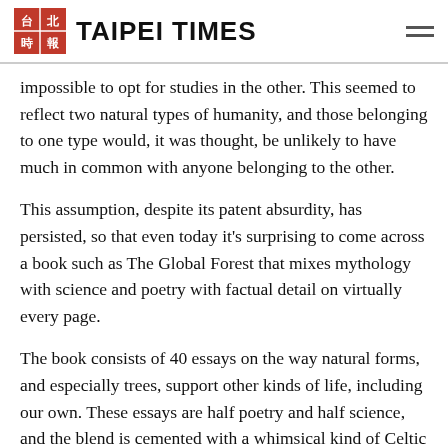TAIPEI TIMES
impossible to opt for studies in the other. This seemed to reflect two natural types of humanity, and those belonging to one type would, it was thought, be unlikely to have much in common with anyone belonging to the other.
This assumption, despite its patent absurdity, has persisted, so that even today it's surprising to come across a book such as The Global Forest that mixes mythology with science and poetry with factual detail on virtually every page.
The book consists of 40 essays on the way natural forms, and especially trees, support other kinds of life, including our own. These essays are half poetry and half science, and the blend is cemented with a whimsical kind of Celtic humor. Author Diana Beresford-Kroeger, though now living in North America, tells us that she was brought up in the